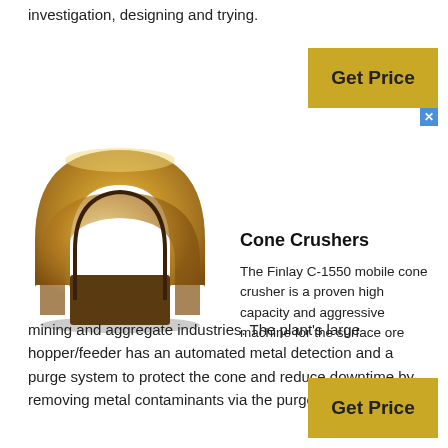investigation, designing and trying.
[Figure (other): Golden/bronze colored cone crusher component — a horseshoe-shaped metal piece with machined surfaces]
Cone Crushers
The Finlay C-1550 mobile cone crusher is a proven high capacity and aggressive machine for the surface ore mining and aggregate industries. The plant's large hopper/feeder has an automated metal detection and a purge system to protect the cone and reduce downtime by removing metal contaminants via the purge chute.
[Figure (other): Get Price button (golden/yellow background)]
[Figure (other): Get Price button (golden/yellow background) at bottom]